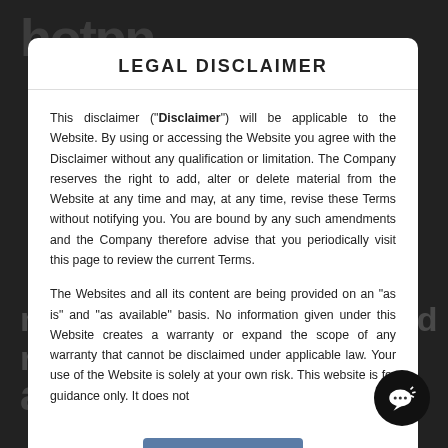LEGAL DISCLAIMER
This disclaimer (“Disclaimer”) will be applicable to the Website. By using or accessing the Website you agree with the Disclaimer without any qualification or limitation. The Company reserves the right to add, alter or delete material from the Website at any time and may, at any time, revise these Terms without notifying you. You are bound by any such amendments and the Company therefore advise that you periodically visit this page to review the current Terms.
The Websites and all its content are being provided on an "as is" and "as available" basis. No information given under this Website creates a warranty or expand the scope of any warranty that cannot be disclaimed under applicable law. Your use of the Website is solely at your own risk. This website is for guidance only. It does not
[Figure (other): I AGREE button]
[Figure (other): Chat support icon - circular black button with speech bubble icon]